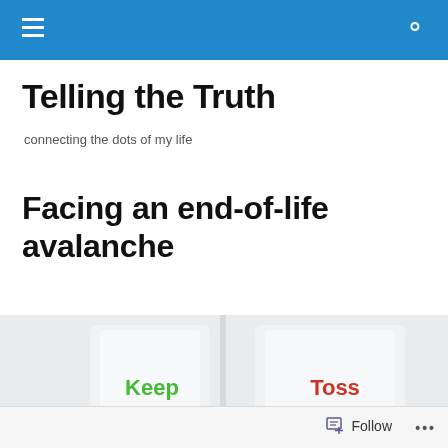Telling the Truth — site navigation bar
Telling the Truth
connecting the dots of my life
Facing an end-of-life avalanche
[Figure (photo): Two mugs or containers side by side, one labeled 'Keep' in green text and the other labeled 'Toss' in red text, against a light blurred background.]
Follow   ...